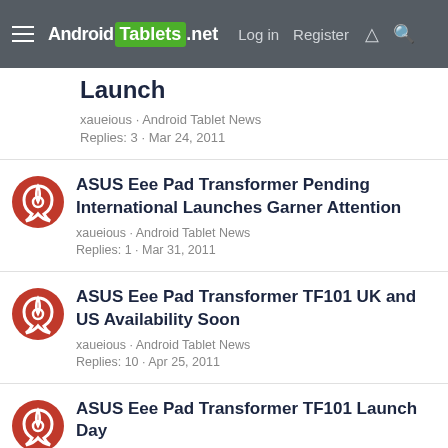Android Tablets .net  Log in  Register
Launch
xaueious · Android Tablet News
Replies: 3 · Mar 24, 2011
ASUS Eee Pad Transformer Pending International Launches Garner Attention
xaueious · Android Tablet News
Replies: 1 · Mar 31, 2011
ASUS Eee Pad Transformer TF101 UK and US Availability Soon
xaueious · Android Tablet News
Replies: 10 · Apr 25, 2011
ASUS Eee Pad Transformer TF101 Launch Day